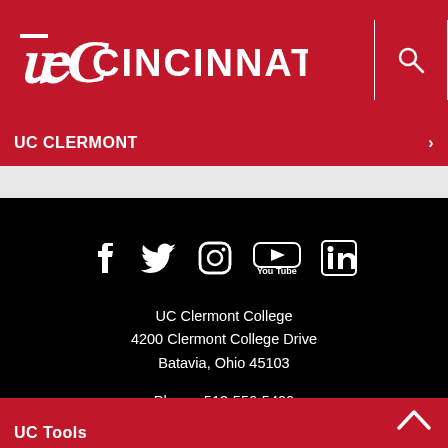[Figure (logo): University of Cincinnati logo with UC seal and CINCINNATI wordmark in white on red background]
UC CLERMONT
[Figure (infographic): Social media icons: Facebook, Twitter, Instagram, YouTube, LinkedIn in white on black background]
UC Clermont College
4200 Clermont College Drive
Batavia, Ohio 45103
Phone: 513-556-5400
UC Tools